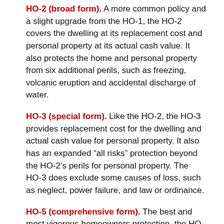HO-2 (broad form). A more common policy and a slight upgrade from the HO-1, the HO-2 covers the dwelling at its replacement cost and personal property at its actual cash value. It also protects the home and personal property from six additional perils, such as freezing, volcanic eruption and accidental discharge of water.
HO-3 (special form). Like the HO-2, the HO-3 provides replacement cost for the dwelling and actual cash value for personal property. It also has an expanded “all risks” protection beyond the HO-2’s perils for personal property. The HO-3 does exclude some causes of loss, such as neglect, power failure, and law or ordinance.
HO-5 (comprehensive form). The best and most vigorous homeowners protection, the HO-5 is similar to the H0-3 with the noteworthy difference that both dwelling and personal property are insured at their replacement cost. “All risks” protection also is included without the HO-3’s exclusions, and coverage limits